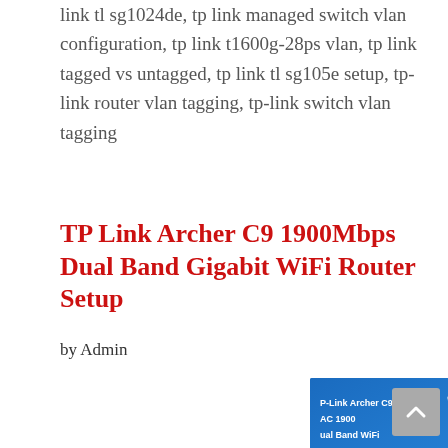link tl sg1024de, tp link managed switch vlan configuration, tp link t1600g-28ps vlan, tp link tagged vs untagged, tp link tl sg105e setup, tp-link router vlan tagging, tp-link switch vlan tagging
TP Link Archer C9 1900Mbps Dual Band Gigabit WiFi Router Setup
by Admin
[Figure (photo): TP-Link Archer C9 AC1900 Dual Band WiFi Router Setup product photo on blue background with three white antennas visible]